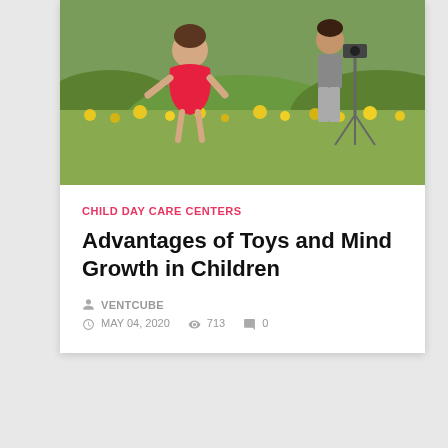[Figure (photo): Children playing in a field with yellow flowers, one wearing a red dress, another near a tripod, photographed from behind]
CHILD DAY CARE CENTERS
Advantages of Toys and Mind Growth in Children
VENTCUBE
MAY 04, 2020  713  0